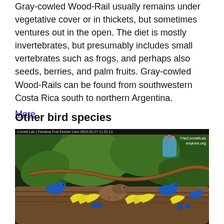Gray-cowled Wood-Rail usually remains under vegetative cover or in thickets, but sometimes ventures out in the open. The diet is mostly invertebrates, but presumably includes small vertebrates such as frogs, and perhaps also seeds, berries, and palm fruits. Gray-cowled Wood-Rails can be found from southwestern Costa Rica south to northern Argentina.
More
Other bird species
[Figure (photo): Cornell Lab Panama Fruit Feeder Cam screenshot dated 2019-02-27 showing tropical birds including blue tanagers and a brown bird on a log with bananas and fruit at a feeding station surrounded by green tropical foliage, with a hanging blue feeder visible. TheCornellLab explore.org watermark in top right.]